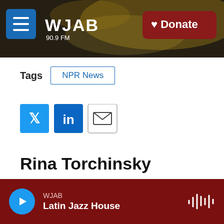[Figure (screenshot): WJAB 90.9 FM radio station website header with navigation menu button, station logo, and dark red Donate button over a dark background photo of brass instruments]
Tags   NPR News
[Figure (infographic): Social sharing buttons: Twitter (blue bird icon), LinkedIn (blue in icon), Email (envelope icon)]
Rina Torchinsky
WJAB  Latin Jazz House